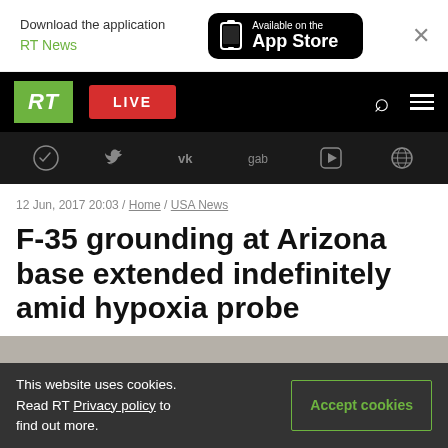Download the application RT News / Available on the App Store
RT LIVE
Social icons: Telegram, Twitter, VK, gab, Rumble, Globe
12 Jun, 2017 20:03 / Home / USA News
F-35 grounding at Arizona base extended indefinitely amid hypoxia probe
[Figure (photo): Partial view of article image (gray placeholder)]
This website uses cookies. Read RT Privacy policy to find out more.
Accept cookies